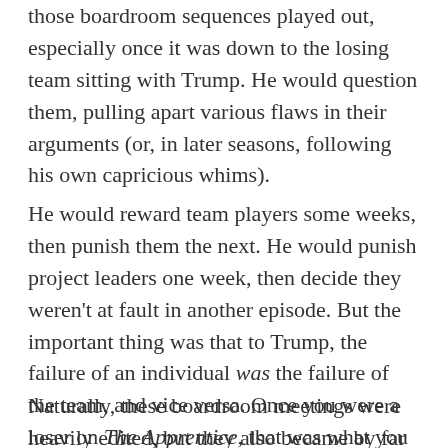those boardroom sequences played out, especially once it was down to the losing team sitting with Trump. He would question them, pulling apart various flaws in their arguments (or, in later seasons, following his own capricious whims).
He would reward team players some weeks, then punish them the next. He would punish project leaders one week, then decide they weren't at fault in another episode. But the important thing was that to Trump, the failure of an individual was the failure of the team, and vice versa. Once you were a loser on The Apprentice, that was what you were, until the next week.
Naturally, these boardroom meetings were heavily edited, but they also became by far the most popular thing about the show. And as their